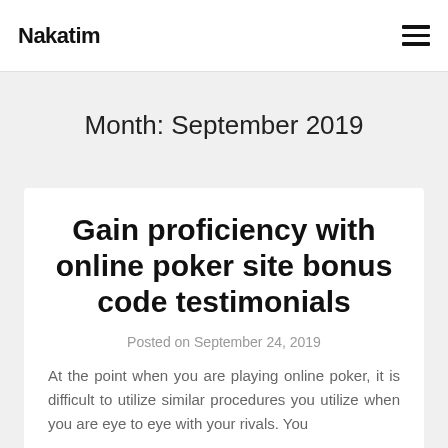Nakatim
Month: September 2019
Gain proficiency with online poker site bonus code testimonials
Posted on September 24, 2019
At the point when you are playing online poker, it is difficult to utilize similar procedures you utilize when you are eye to eye with your rivals. You